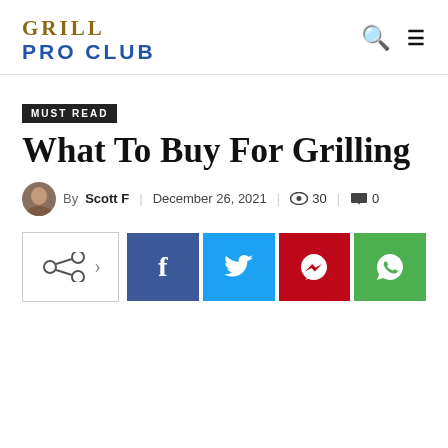GRILL PRO CLUB
MUST READ
What To Buy For Grilling
By Scott F | December 26, 2021 | 30 | 0
[Figure (other): Social share buttons row: share icon button, Facebook, Twitter, Pinterest, WhatsApp]